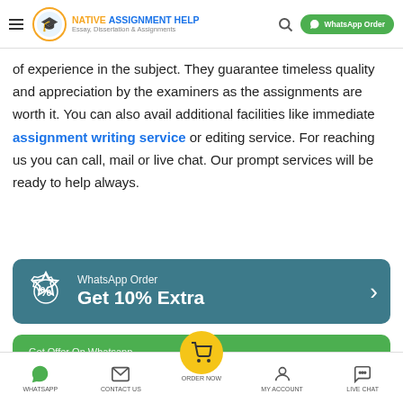Native Assignment Help — Essay, Dissertation & Assignments | WhatsApp Order
of experience in the subject. They guarantee timeless quality and appreciation by the examiners as the assignments are worth it. You can also avail additional facilities like immediate assignment writing service or editing service. For reaching us you can call, mail or live chat. Our prompt services will be ready to help always.
[Figure (infographic): Teal banner: WhatsApp Order — Get 10% Extra with badge icon and arrow]
[Figure (infographic): Green banner: Get Offer On Whatsapp +44 203 318 3300 with arrow]
WHATSAPP | CONTACT US | ORDER NOW | MY ACCOUNT | LIVE CHAT